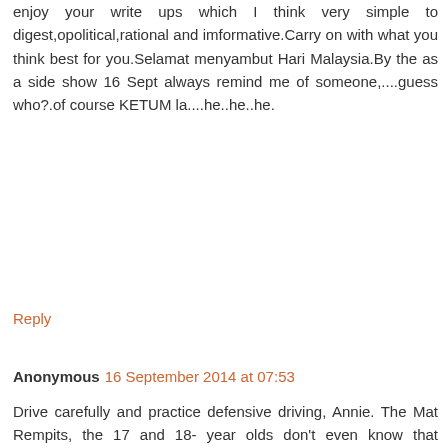enjoy your write ups which I think very simple to digest,opolitical,rational and imformative.Carry on with what you think best for you.Selamat menyambut Hari Malaysia.By the as a side show 16 Sept always remind me of someone,....guess who?.of course KETUM la....he..he..he.
Reply
Anonymous 16 September 2014 at 07:53
Drive carefully and practice defensive driving, Annie. The Mat Rempits, the 17 and 18- year olds don't even know that concept. School holidays now, they are all over the places, on the roads etc.
Some are born restless, others have restlessness thrust upon them by their peers, TV, U tube and all sorts of evil Internet and mass media influence.
The Government should build racing grounds in every district so that they can kill themselves, not innocent